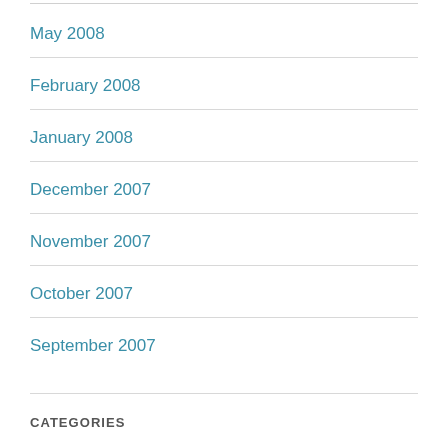May 2008
February 2008
January 2008
December 2007
November 2007
October 2007
September 2007
CATEGORIES